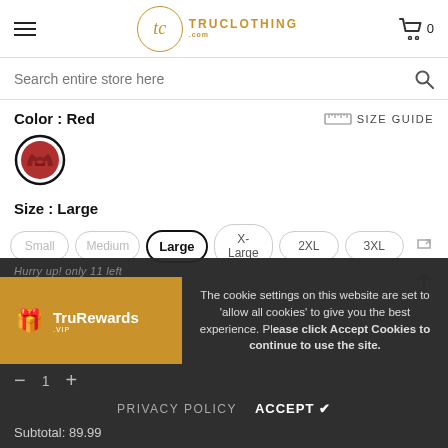TruClothing.com — Navigation header with hamburger menu, logo, and cart (0 items)
Search entire store here
Color : Red
SIZE GUIDE
[Figure (photo): Red leather jacket color swatch as a small circular thumbnail with black border]
Size : Large
Small  Medium  Large  X-Large  2XL  3XL  4XL
The cookie settings on this website are set to 'allow all cookies' to give you the best experience. Please click Accept Cookies to continue to use the site.
TruRewards
PRIVACY POLICY  ACCEPT ✓
Subtotal: 89.99